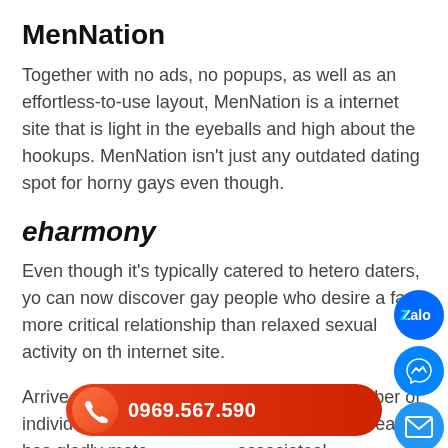MenNation
Together with no ads, no popups, as well as an effortless-to-use layout, MenNation is a internet site that is light in the eyeballs and high about the hookups. MenNation isn’t just any outdated dating spot for horny gays even though.
eharmony
Even though it’s typically catered to hetero daters, you can now discover gay people who desire a far more critical relationship than relaxed sexual activity on the internet site.
Arrive become a member of the a large number of individual gay gentlemen that eharmony already has gladly matched associates!
[Figure (infographic): Social sharing buttons: Zalo (blue circle), Messenger (blue circle with chat icon), Email (blue circle with envelope icon), Up arrow (green circle). Phone call bar at bottom with orange phone icon and number 0969.567.590 on red background.]